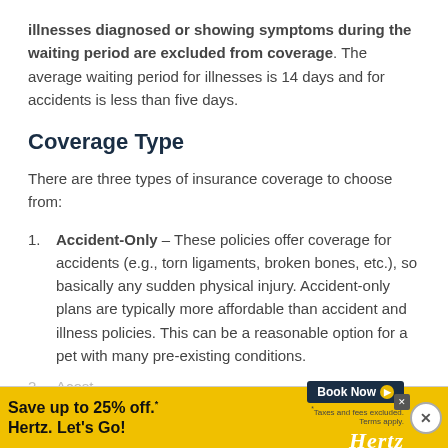illnesses diagnosed or showing symptoms during the waiting period are excluded from coverage. The average waiting period for illnesses is 14 days and for accidents is less than five days.
Coverage Type
There are three types of insurance coverage to choose from:
Accident-Only – These policies offer coverage for accidents (e.g., torn ligaments, broken bones, etc.), so basically any sudden physical injury. Accident-only plans are typically more affordable than accident and illness policies. This can be a reasonable option for a pet with many pre-existing conditions.
Ac... most po... di...
[Figure (other): Hertz advertisement banner: 'Save up to 25% off. Hertz. Let's Go!' with Book Now button and Hertz logo. Yellow background.]